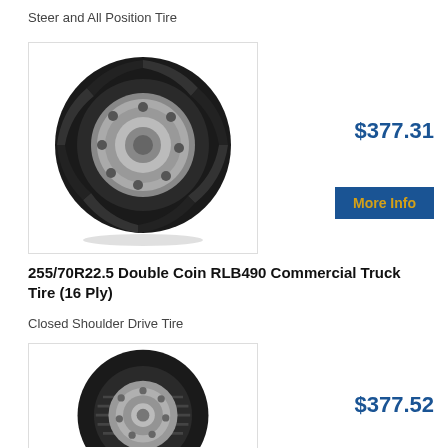Steer and All Position Tire
[Figure (photo): Commercial truck tire with hub - 255/70R22.5 Double Coin RLB490, shown with silver wheel hub, aggressive tread pattern]
$377.31
More Info
255/70R22.5 Double Coin RLB490 Commercial Truck Tire (16 Ply)
Closed Shoulder Drive Tire
[Figure (photo): Commercial truck tire partially shown - smooth rib tread pattern steer tire with silver hub]
$377.52